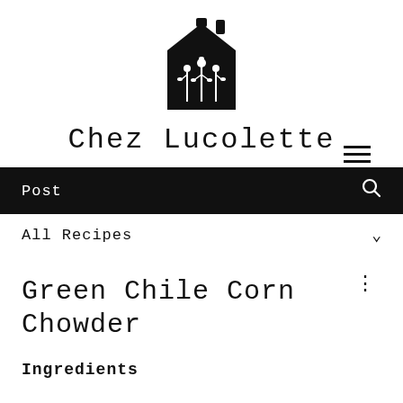[Figure (logo): Black house illustration with floral/plant decorations inside, stylized logo for Chez Lucolette]
Chez Lucolette
[Figure (other): Hamburger menu icon (three horizontal lines)]
Post
All Recipes
Green Chile Corn Chowder
Ingredients